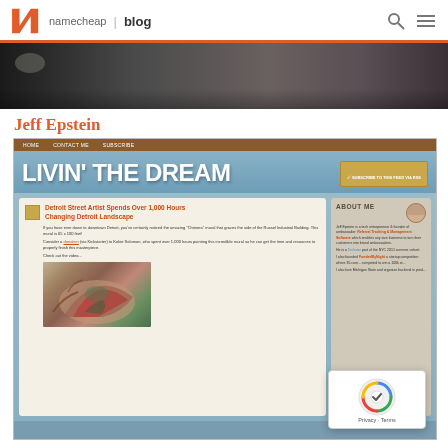namecheap | blog
[Figure (photo): Dark hero banner image showing blurred background with hands]
Jeff Epstein
[Figure (screenshot): Screenshot of Jeff Epstein's blog 'Livin the Dream' showing a blog post titled 'Detroit Street Artist Spends Over 1,000 Hours Changing Detroit Landscape' with an About Me sidebar and a dragon mural image]